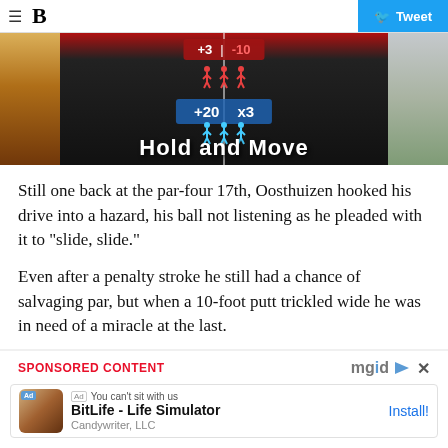≡  B  Tweet
[Figure (screenshot): Mobile game advertisement screenshot showing a running game with score indicators (+3, -10, +20, x3), red and blue stick figure characters on a dark road/tunnel, with text 'Hold and Move' at the bottom. Background shows winter trees on right and sunset on left.]
Still one back at the par-four 17th, Oosthuizen hooked his drive into a hazard, his ball not listening as he pleaded with it to "slide, slide."
Even after a penalty stroke he still had a chance of salvaging par, but when a 10-foot putt trickled wide he was in need of a miracle at the last.
SPONSORED CONTENT
[Figure (screenshot): Mobile app advertisement for BitLife - Life Simulator by Candywriter, LLC with an Install button]